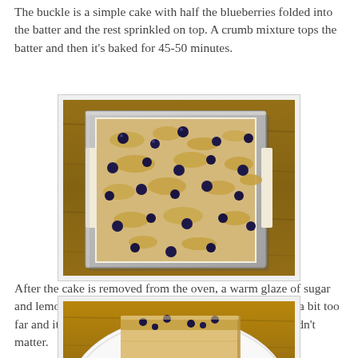The buckle is a simple cake with half the blueberries folded into the batter and the rest sprinkled on top. A crumb mixture tops the batter and then it's baked for 45-50 minutes.
[Figure (photo): A square baking pan lined with parchment paper containing a blueberry buckle cake with crumb topping, viewed from above on a wooden surface.]
After the cake is removed from the oven, a warm glaze of sugar and lemon juice is poured over the cake. I took the syrup a bit too far and it caramelized a bit so it was a little dark, but it didn't matter.
[Figure (photo): A slice of blueberry buckle cake on a white plate on a wooden surface, viewed at a slight angle.]